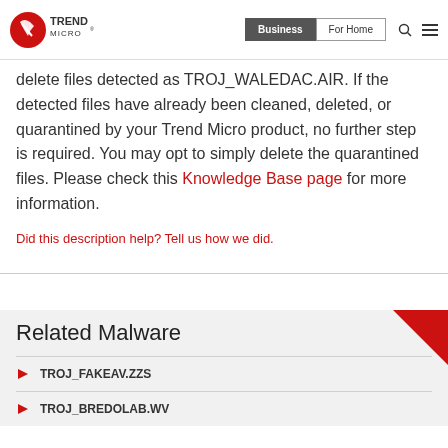Trend Micro | Business | For Home
delete files detected as TROJ_WALEDAC.AIR. If the detected files have already been cleaned, deleted, or quarantined by your Trend Micro product, no further step is required. You may opt to simply delete the quarantined files. Please check this Knowledge Base page for more information.
Did this description help? Tell us how we did.
Related Malware
TROJ_FAKEAV.ZZS
TROJ_BREDOLAB.WV